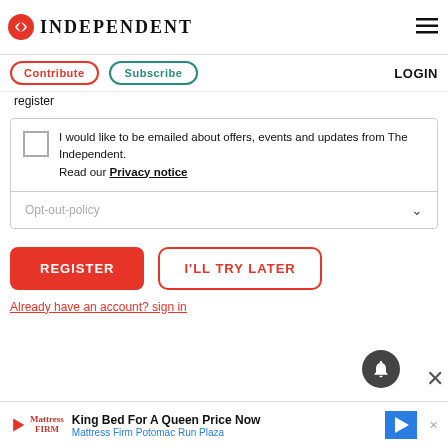INDEPENDENT
Contribute   Subscribe   LOGIN
register
I would like to be emailed about offers, events and updates from The Independent.
Read our Privacy notice
Opt-out-policy
REGISTER
I'LL TRY LATER
Already have an account? sign in
King Bed For A Queen Price Now
Mattress Firm Potomac Run Plaza